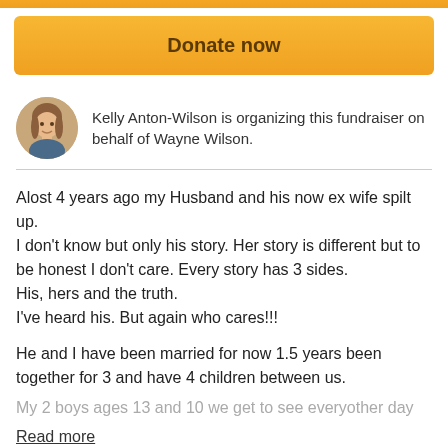Donate now
[Figure (photo): Circular avatar photo of Kelly Anton-Wilson]
Kelly Anton-Wilson is organizing this fundraiser on behalf of Wayne Wilson.
Alost 4 years ago my Husband and his now ex wife spilt up.
I don't know but only his story. Her story is different but to be honest I don't care. Every story has 3 sides.
His, hers and the truth.
I've heard his. But again who cares!!!
He and I have been married for now 1.5 years been together for 3 and have 4 children between us.
My 2 boys ages 13 and 10 we get to see everyother day
Read more